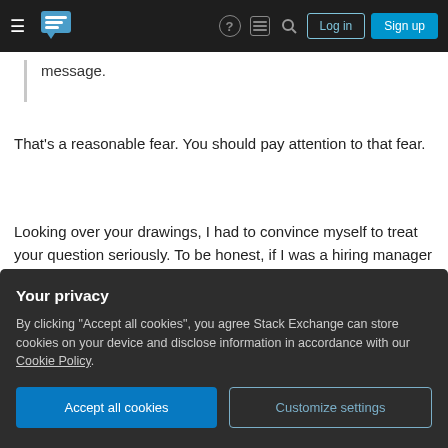Stack Exchange navigation bar with Log in and Sign up buttons
message.
That's a reasonable fear. You should pay attention to that fear.
Looking over your drawings, I had to convince myself to treat your question seriously. To be honest, if I was a hiring manager and received a cover letter with similar drawings, I would laugh, but certainly not invite you for an interview. To my hiring manager eyes your drawings don't convey creativity
words.
Your privacy
By clicking "Accept all cookies", you agree Stack Exchange can store cookies on your device and disclose information in accordance with our Cookie Policy.
Accept all cookies  Customize settings